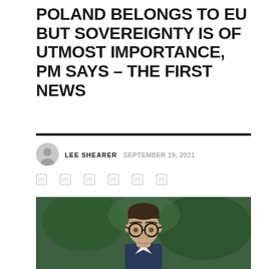POLAND BELONGS TO EU BUT SOVEREIGNTY IS OF UTMOST IMPORTANCE, PM SAYS – THE FIRST NEWS
LEE SHEARER  SEPTEMBER 19, 2021
[Figure (photo): Close-up photo of a man with dark hair and round black-rimmed glasses, wearing a suit, against a green blurred background — Polish Prime Minister]